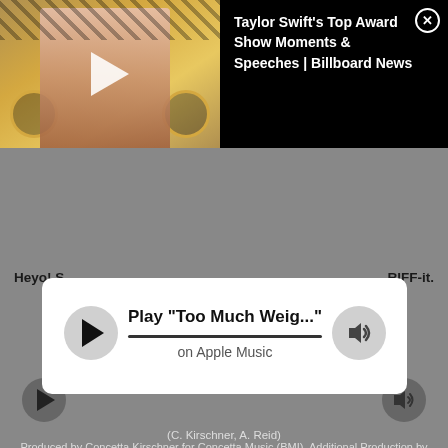[Figure (screenshot): Video advertisement thumbnail showing Taylor Swift at an awards show holding Grammy trophies, with CBS logos visible. A white play button triangle is overlaid on the image.]
Taylor Swift's Top Award Show Moments & Speeches | Billboard News
Heyo! S
RIFF-it.
Play "Too Much Weig..."
on Apple Music
(C. Kirschner, A. Reid)
Produced by Concetta Kirschner for Concetta Music (BMI). Additional Production by Curtis Curtis for The Vertical Corporation (BMI) and Walter Sipser. Samadia Music (ASCAP) Bahamadia appears courtesy Goodvibe/B-Girl/J. Core Recordings. Live Harm...